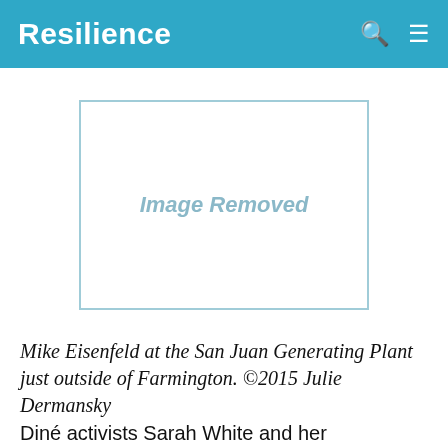Resilience
[Figure (photo): Image Removed placeholder box with border]
Mike Eisenfeld at the San Juan Generating Plant just outside of Farmington. ©2015 Julie Dermansky
Diné activists Sarah White and her